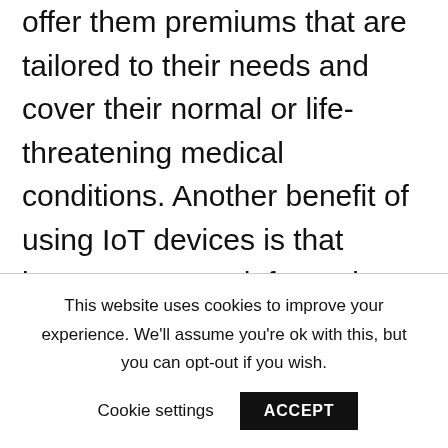offer them premiums that are tailored to their needs and cover their normal or life-threatening medical conditions. Another benefit of using IoT devices is that insurers can get information about the individual's driving habits and offer them personalised plans based on it.
This website uses cookies to improve your experience. We'll assume you're ok with this, but you can opt-out if you wish.
Cookie settings   ACCEPT